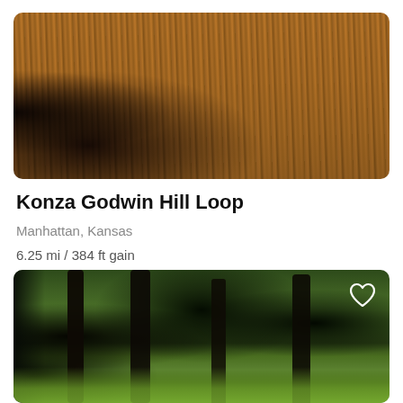[Figure (photo): Photo of tall golden-brown prairie grass with dark shadowy lower portion, warm amber tones]
Konza Godwin Hill Loop
Manhattan, Kansas
6.25 mi / 384 ft gain
[Figure (photo): Photo of wooded forest trail with dark tree trunks and bright green foliage, with a white heart icon in upper right corner]